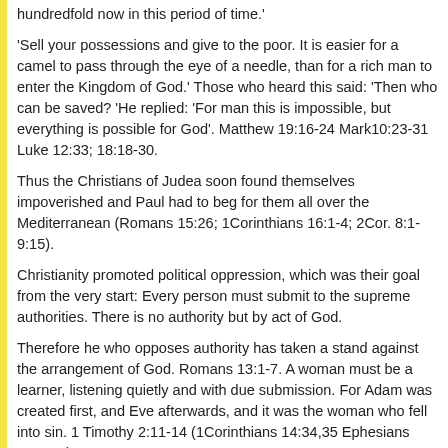hundredfold now in this period of time.'
'Sell your possessions and give to the poor. It is easier for a camel to pass through the eye of a needle, than for a rich man to enter the Kingdom of God.' Those who heard this said: 'Then who can be saved? 'He replied: 'For man this is impossible, but everything is possible for God'. Matthew 19:16-24 Mark10:23-31 Luke 12:33; 18:18-30.
Thus the Christians of Judea soon found themselves impoverished and Paul had to beg for them all over the Mediterranean (Romans 15:26; 1Corinthians 16:1-4; 2Cor. 8:1-9:15).
Christianity promoted political oppression, which was their goal from the very start: Every person must submit to the supreme authorities. There is no authority but by act of God.
Therefore he who opposes authority has taken a stand against the arrangement of God. Romans 13:1-7. A woman must be a learner, listening quietly and with due submission. For Adam was created first, and Eve afterwards, and it was the woman who fell into sin. 1 Timothy 2:11-14 (1Corinthians 14:34,35 Ephesians 5:22-33).